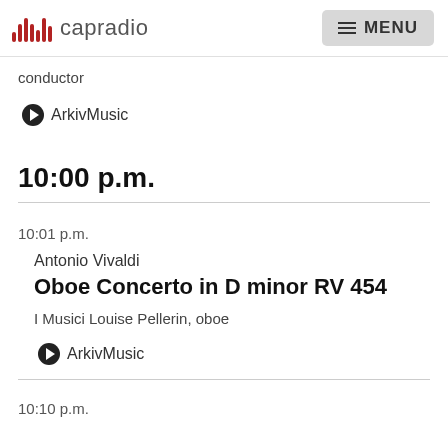capradio  MENU
conductor
ArkivMusic
10:00 p.m.
10:01 p.m.
Antonio Vivaldi
Oboe Concerto in D minor RV 454
I Musici Louise Pellerin, oboe
ArkivMusic
10:10 p.m.